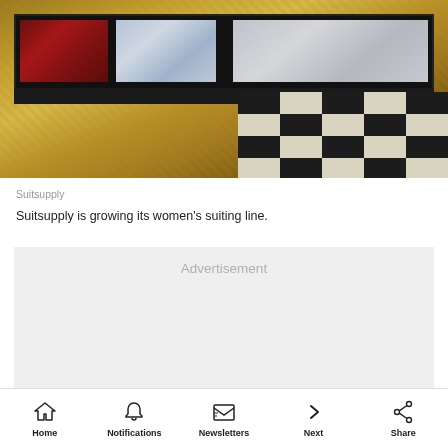[Figure (photo): Interior of a Suitsupply store showing a dark display case with merchandise, gold/yellow carpet, and a black and white checkered floor area in the lower right.]
Suitsupply
Suitsupply is growing its women's suiting line.
[Figure (other): Advertisement placeholder box]
Home  Notifications  Newsletters  Next  Share